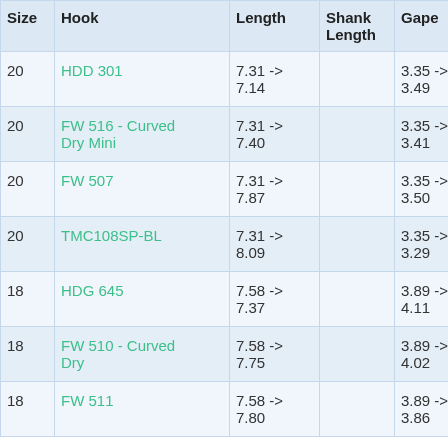| Size | Hook | Length | Shank Length | Gape |
| --- | --- | --- | --- | --- |
| 20 | HDD 301 | 7.31 -> 7.14 |  | 3.35 -> 3.49 |
| 20 | FW 516 - Curved Dry Mini | 7.31 -> 7.40 |  | 3.35 -> 3.41 |
| 20 | FW 507 | 7.31 -> 7.87 |  | 3.35 -> 3.50 |
| 20 | TMC108SP-BL | 7.31 -> 8.09 |  | 3.35 -> 3.29 |
| 18 | HDG 645 | 7.58 -> 7.37 |  | 3.89 -> 4.11 |
| 18 | FW 510 - Curved Dry | 7.58 -> 7.75 |  | 3.89 -> 4.02 |
| 18 | FW 511 | 7.58 -> 7.80 |  | 3.89 -> 3.86 |